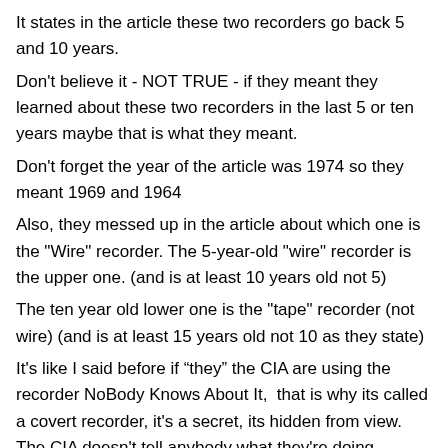It states in the article these two recorders go back 5 and 10 years.
Don't believe it - NOT TRUE - if they meant they learned about these two recorders in the last 5 or ten years maybe that is what they meant.
Don't forget the year of the article was 1974 so they meant 1969 and 1964
Also, they messed up in the article about which one is the "Wire" recorder. The 5-year-old "wire" recorder is the upper one. (and is at least 10 years old not 5)
The ten year old lower one is the "tape" recorder (not wire) (and is at least 15 years old not 10 as they state)
It's like I said before if “they” the CIA are using the recorder NoBody Knows About It,  that is why its called a covert recorder, it's a secret, its hidden from view. The CIA doesn't tell anybody what they're doing especially if they were using what may have been the first transistor covert recorder